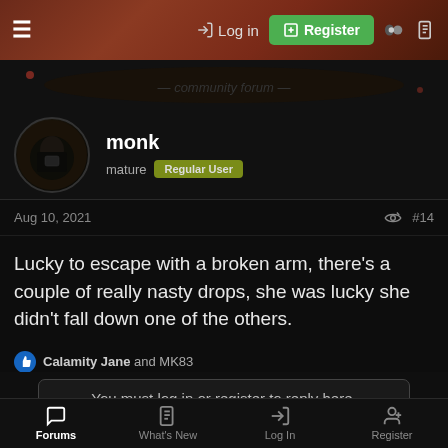Log in | Register
[Figure (screenshot): Dark forum banner with decorative background]
monk
mature Regular User
Aug 10, 2021  #14
Lucky to escape with a broken arm, there's a couple of really nasty drops, she was lucky she didn't fall down one of the others.
Calamity Jane and MK83
You must log in or register to reply here.
Share:
Forums | What's New | Log In | Register